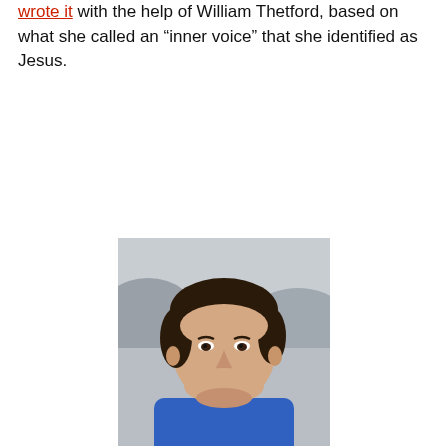wrote it with the help of William Thetford, based on what she called an “inner voice” that she identified as Jesus.
[Figure (photo): Portrait photograph of a man with dark curly hair, smiling slightly, wearing a blue jacket, photographed outdoors with a rocky background.]